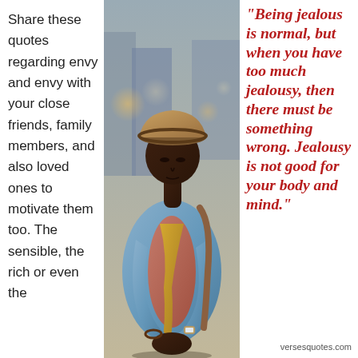Share these quotes regarding envy and envy with your close friends, family members, and also loved ones to motivate them too. The sensible, the rich or even the
[Figure (photo): Man wearing a fedora hat and denim jacket, looking down, standing on a city street]
"Being jealous is normal, but when you have too much jealousy, then there must be something wrong. Jealousy is not good for your body and mind."
versesquotes.com